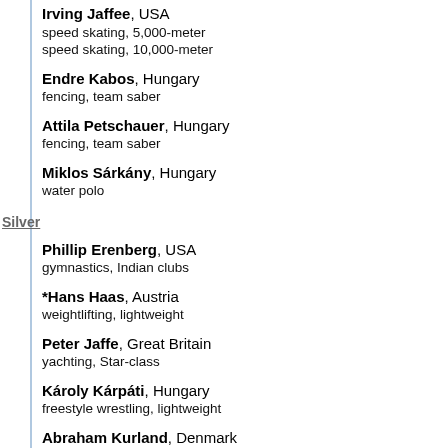Irving Jaffee, USA
speed skating, 5,000-meter
speed skating, 10,000-meter
Endre Kabos, Hungary
fencing, team saber
Attila Petschauer, Hungary
fencing, team saber
Miklos Sárkány, Hungary
water polo
Silver
Phillip Erenberg, USA
gymnastics, Indian clubs
*Hans Haas, Austria
weightlifting, lightweight
Peter Jaffe, Great Britain
yachting, Star-class
Károly Kárpáti, Hungary
freestyle wrestling, lightweight
Abraham Kurland, Denmark